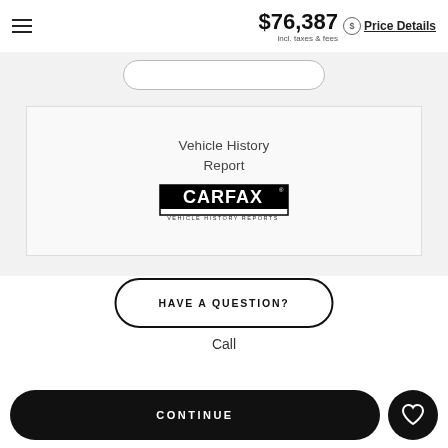$76,387 incl. taxes & fees  Price Details
[Figure (logo): CARFAX Vehicle History Reports logo inside a bordered card with text 'Vehicle History Report']
HAVE A QUESTION?
Call
CONTINUE